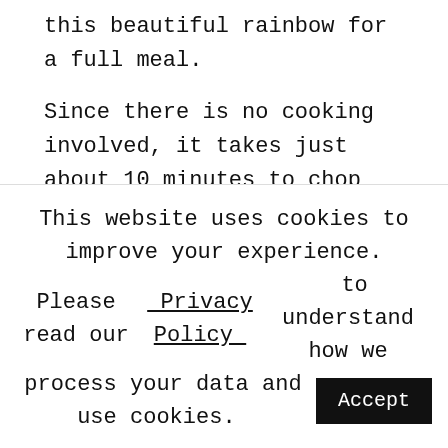this beautiful rainbow for a full meal.
Since there is no cooking involved, it takes just about 10 minutes to chop all the salad vegetables and put it together. The vegan salad dressing is the easiest – just shake everything together in a jar or whisk in a bowl.
This colourful salad is like eating a rainbow. The different salad vegetables not only bring in colours but also a lot of different types of vitamins and minerals. Plus there is lots of water and healthy fibre content. The greens are great detoxifying vegetables.
This website uses cookies to improve your experience. Please read our Privacy Policy to understand how we process your data and use cookies. Accept